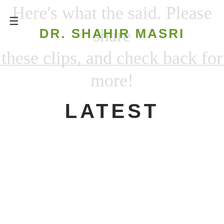DR. SHAHIR MASRI
Here's what the said. Please share these clips, and check back for more!
LATEST